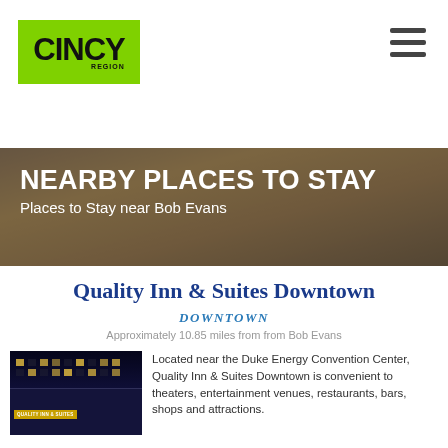[Figure (logo): CINCY Region logo on bright green background]
NEARBY PLACES TO STAY
Places to Stay near Bob Evans
Quality Inn & Suites Downtown
DOWNTOWN
Approximately 10.85 miles from from Bob Evans
[Figure (photo): Night photo of Quality Inn & Suites Downtown hotel building]
Located near the Duke Energy Convention Center, Quality Inn & Suites Downtown is convenient to theaters, entertainment venues, restaurants, bars, shops and attractions.